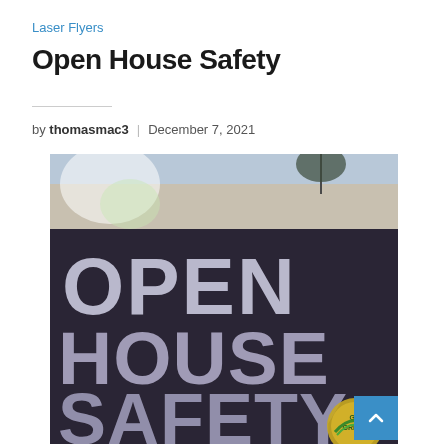Laser Flyers
Open House Safety
by thomasmac3 | December 7, 2021
[Figure (photo): Photo of an open house sign with large text reading OPEN HOUSE SAFETY, with a small Go Green badge in the bottom-right corner. The sign features white/purple letters on a dark background with a house and sky visible at the top.]